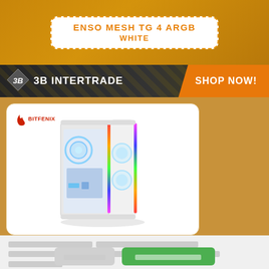ENSO MESH TG 4 ARGB
WHITE
[Figure (logo): 3B INTERTRADE brand banner with logo and SHOP NOW button on orange/dark background]
[Figure (photo): BitFenix ENSO MESH TG 4 ARGB White PC case with ARGB lighting on white background card]
[Thai language text - notification/dialog content]
[Button: cancel] [Button: confirm/proceed]